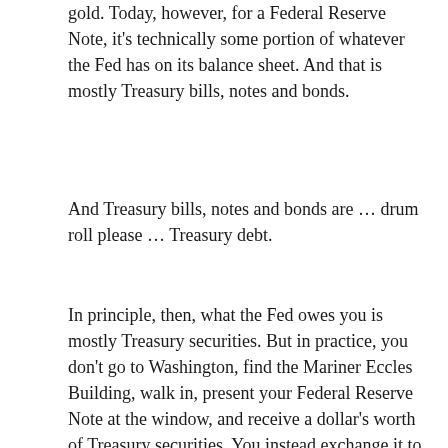gold. Today, however, for a Federal Reserve Note, it's technically some portion of whatever the Fed has on its balance sheet. And that is mostly Treasury bills, notes and bonds.
And Treasury bills, notes and bonds are … drum roll please … Treasury debt.
In principle, then, what the Fed owes you is mostly Treasury securities. But in practice, you don't go to Washington, find the Mariner Eccles Building, walk in, present your Federal Reserve Note at the window, and receive a dollar's worth of Treasury securities. You instead exchange it to someone else, who passes it to someone else and so on, until someone in that chain of custody (for example a bank, bond dealer or